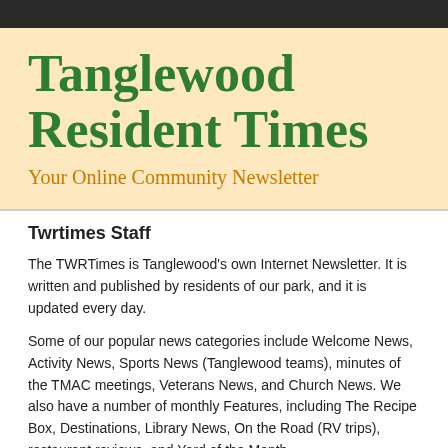Tanglewood Resident Times
Your Online Community Newsletter
Twrtimes Staff
The TWRTimes is Tanglewood's own Internet Newsletter. It is written and published by residents of our park, and it is updated every day.
Some of our popular news categories include Welcome News, Activity News, Sports News (Tanglewood teams), minutes of the TMAC meetings, Veterans News, and Church News. We also have a number of monthly Features, including The Recipe Box, Destinations, Library News, On the Road (RV trips), restaurant reviews, and Yard of the Month.
In addition, look for interviews with interesting residents in Hobby Spotlight and our Man-on-the-Street type stories. Look at the Calendar pages for